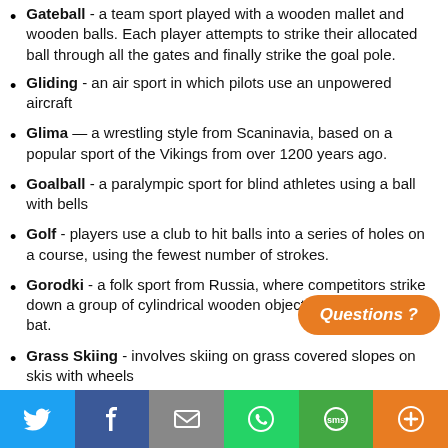Gateball - a team sport played with a wooden mallet and wooden balls. Each player attempts to strike their allocated ball through all the gates and finally strike the goal pole.
Gliding - an air sport in which pilots use an unpowered aircraft
Glima — a wrestling style from Scaninavia, based on a popular sport of the Vikings from over 1200 years ago.
Goalball - a paralympic sport for blind athletes using a ball with bells
Golf - players use a club to hit balls into a series of holes on a course, using the fewest number of strokes.
Gorodki - a folk sport from Russia, where competitors strike down a group of cylindrical wooden objects by throwing a bat.
Grass Skiing - involves skiing on grass covered slopes on skis with wheels
[Figure (other): Orange rounded button with text 'Questions ?']
[Figure (other): Social media share bar with Twitter, Facebook, Email, WhatsApp, SMS, and More icons]